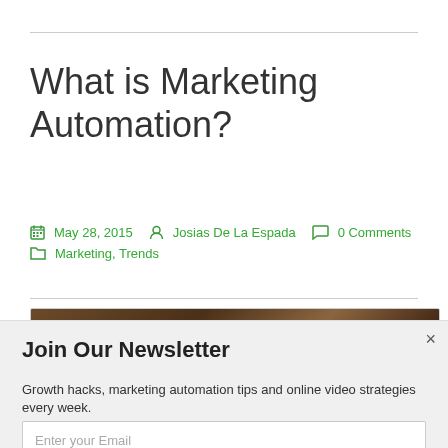What is Marketing Automation?
May 28, 2015  Josias De La Espada  0 Comments  Marketing, Trends
[Figure (photo): Partial view of a dark brown wooden surface or furniture, cropped at the bottom of the visible article area]
Join Our Newsletter
Growth hacks, marketing automation tips and online video strategies every week.
Enter your Email
Subscribe Now